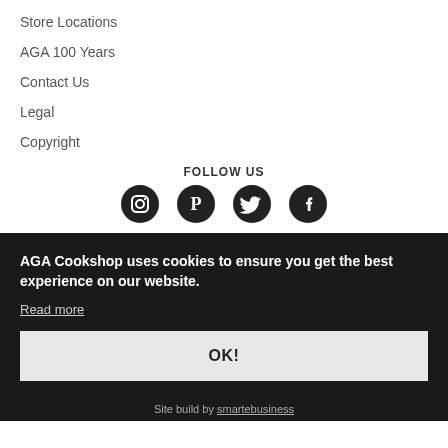Store Locations
AGA 100 Years
Contact Us
Legal
Copyright
FOLLOW US
[Figure (illustration): Four social media icons: Instagram, Pinterest, Twitter, Facebook]
AGA Cookshop uses cookies to ensure you get the best experience on our website.
Read more
OK!
Site build by smartebusiness